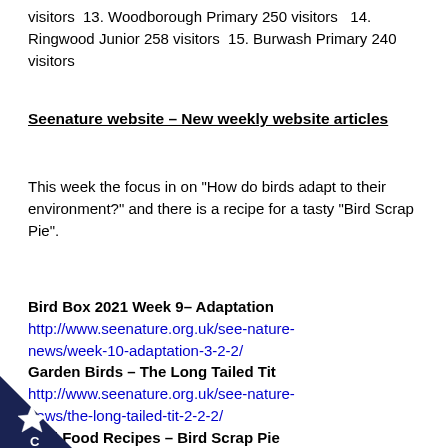visitors 13. Woodborough Primary 250 visitors  14. Ringwood Junior 258 visitors  15. Burwash Primary 240 visitors
Seenature website – New weekly website articles
This week the focus in on "How do birds adapt to their environment?" and there is a recipe for a tasty "Bird Scrap Pie".
Bird Box 2021 Week 9- Adaptation
http://www.seenature.org.uk/see-nature-news/week-10-adaptation-3-2-2/
Garden Birds - The Long Tailed Tit
http://www.seenature.org.uk/see-nature-news/the-long-tailed-tit-2-2-2/
Bird Food Recipes – Bird Scrap Pie
http://www.seenature.org.uk/see-nature-